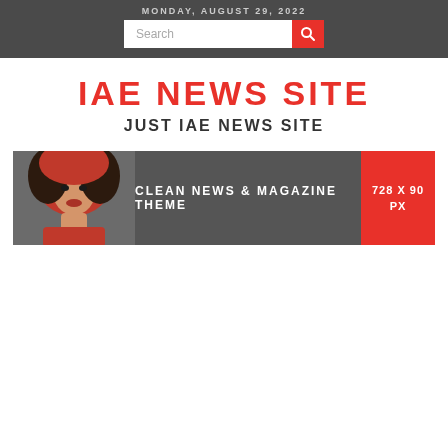MONDAY, AUGUST 29, 2022
IAE NEWS SITE
JUST IAE NEWS SITE
[Figure (illustration): Banner ad: woman in red headscarf on left, dark grey background with text 'CLEAN NEWS & MAGAZINE THEME' in center, red box with '728 X 90 PX' on right]